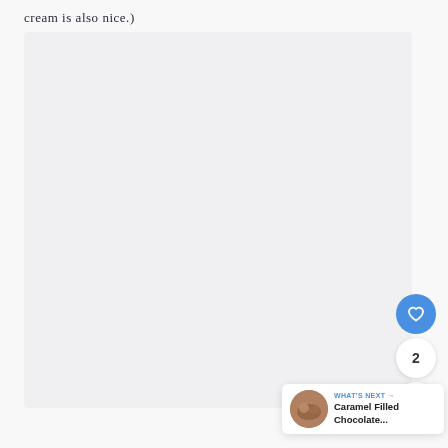cream is also nice.)
[Figure (photo): Large photo area (mostly off-screen/blank), light gray background]
[Figure (other): Like button (blue circle with heart icon), like count (2), and share button - floating action buttons on the right side]
2
WHAT'S NEXT → Caramel Filled Chocolate...